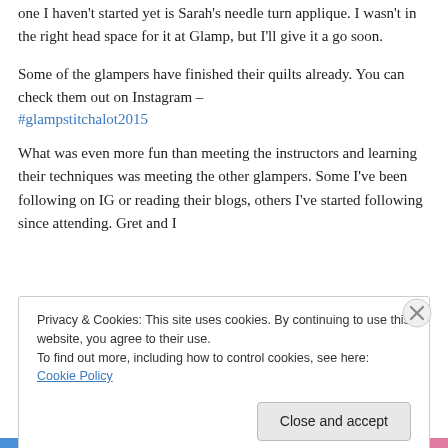one I haven't started yet is Sarah's needle turn applique.  I wasn't in the right head space for it at Glamp, but I'll give it a go soon.
Some of the glampers have finished their quilts already.  You can check them out on Instagram –
#glampstitchalot2015
What was even more fun than meeting the instructors and learning their techniques was meeting the other glampers.  Some I've been following on IG or reading their blogs, others I've started following since attending.  Gret and I
Privacy & Cookies: This site uses cookies. By continuing to use this website, you agree to their use.
To find out more, including how to control cookies, see here: Cookie Policy
Close and accept